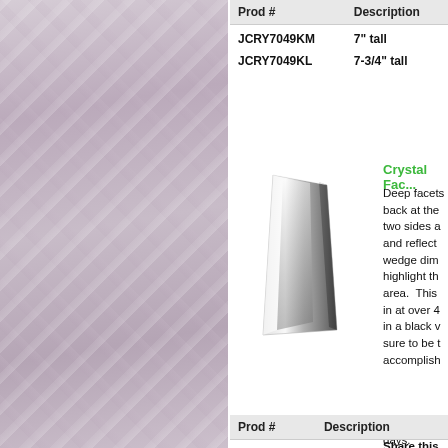[Figure (photo): Marble or crystal textured background image in mauve/pink-grey tones on the left panel]
| Prod # | Description |
| --- | --- |
| JCRY7049KM | 7" tall |
| JCRY7049KL | 7-3/4" tall |
[Figure (photo): Crystal faceted award trophy - tall rectangular wedge shape with faceted sides, photographed on white background]
Crystal Fac...
Deep facets back at the two sides a and reflect wedge dim highlight th area. This in at over 4 in a black v sure to be t accomplish
Production days.
Share this Award:
| Prod # | Description |
| --- | --- |